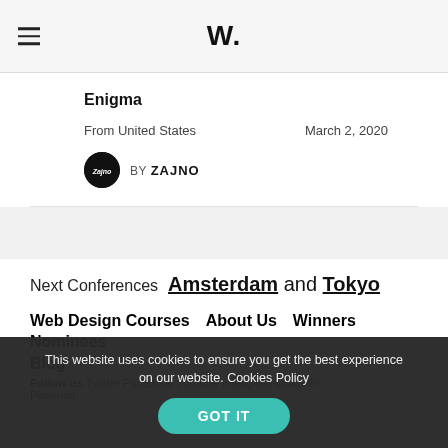W.
Enigma
From United States   March 2, 2020
BY ZAJNO
Next Conferences   Amsterdam and Tokyo
Web Design Courses
About Us
Winners
Nominees
Blog
Follow us  Twitter  Facebook  Youtube  Instagram  Linkedin  Pinterest
This website uses cookies to ensure you get the best experience on our website. Cookies Policy  GOT IT